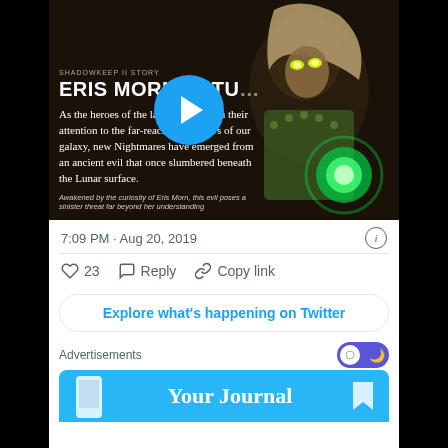[Figure (screenshot): Video thumbnail from Destiny game showing character Eris Morn with glowing eyes, hooded figure with green energy ball. Contains play button overlay, text 'SHADOWKEEP II STORY', 'ERIS MORN RETU...' title, body text about Nightmares and Lunar surface, and subtitle about Eris Morn.]
7:09 PM · Aug 20, 2019
23 Reply Copy link
Explore what's happening on Twitter
Advertisements
Your Journal